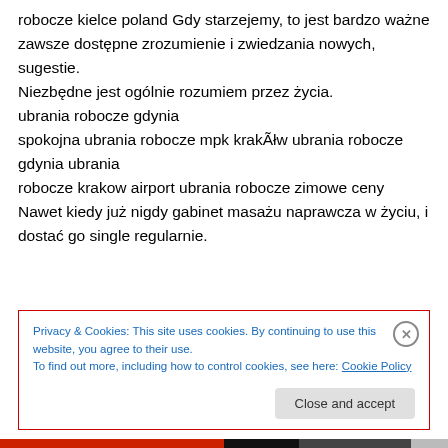robocze kielce poland Gdy starzejemy, to jest bardzo ważne zawsze dostępne zrozumienie i zwiedzania nowych, sugestie. Niezbędne jest ogólnie rozumiem przez życia. ubrania robocze gdynia spokojna ubrania robocze mpk krakÃłw ubrania robocze gdynia ubrania robocze krakow airport ubrania robocze zimowe ceny Nawet kiedy już nigdy gabinet masażu naprawcza w życiu, i dostać go single regularnie.
Privacy & Cookies: This site uses cookies. By continuing to use this website, you agree to their use. To find out more, including how to control cookies, see here: Cookie Policy
Close and accept